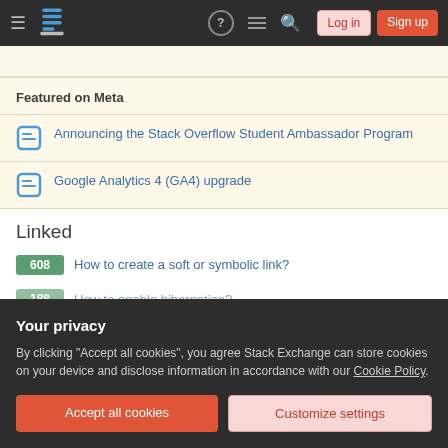Stack Exchange navigation bar with Log in and Sign up buttons
Featured on Meta
Announcing the Stack Overflow Student Ambassador Program
Google Analytics 4 (GA4) upgrade
Linked
608 — How to create a soft or symbolic link?
How to enable hibernation?
Your privacy
By clicking "Accept all cookies", you agree Stack Exchange can store cookies on your device and disclose information in accordance with our Cookie Policy.
Accept all cookies | Customize settings